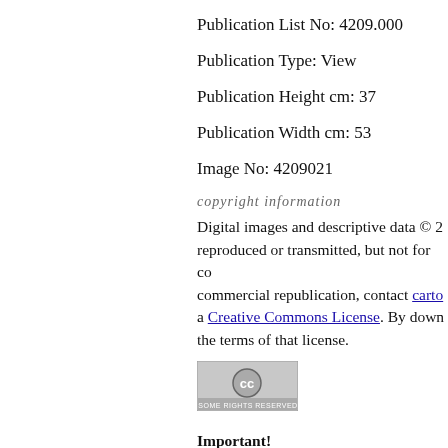Publication List No: 4209.000
Publication Type: View
Publication Height cm: 37
Publication Width cm: 53
Image No: 4209021
copyright information
Digital images and descriptive data © 2... reproduced or transmitted, but not for co... commercial republication, contact carto... a Creative Commons License. By down... the terms of that license.
[Figure (logo): Creative Commons Some Rights Reserved badge]
Important!
Firewalls, or Browser settings that bloc... Insight Java Client or Insight Browser. T... Pop-ups from this site only - if this corre... Browser settings.